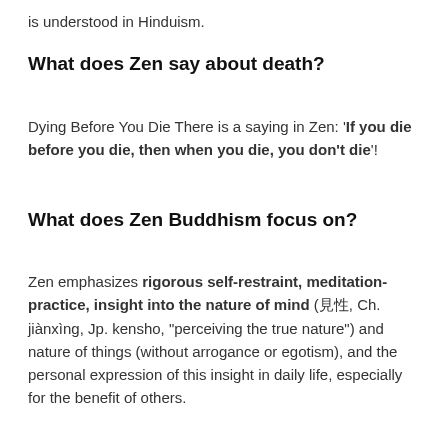is understood in Hinduism.
What does Zen say about death?
Dying Before You Die There is a saying in Zen: 'If you die before you die, then when you die, you don't die'!
What does Zen Buddhism focus on?
Zen emphasizes rigorous self-restraint, meditation-practice, insight into the nature of mind (見性, Ch. jiànxìng, Jp. kensho, "perceiving the true nature") and nature of things (without arrogance or egotism), and the personal expression of this insight in daily life, especially for the benefit of others.